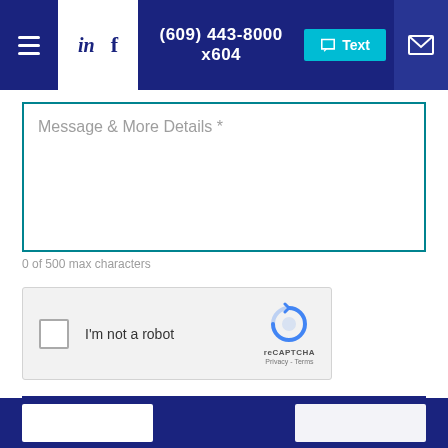in f  (609) 443-8000 x604  Text  [mail icon]
Message & More Details *
0 of 500 max characters
[Figure (screenshot): reCAPTCHA widget with checkbox 'I'm not a robot', reCAPTCHA branding logo, Privacy - Terms links]
SEND MESSAGE
Footer dark bar with column boxes